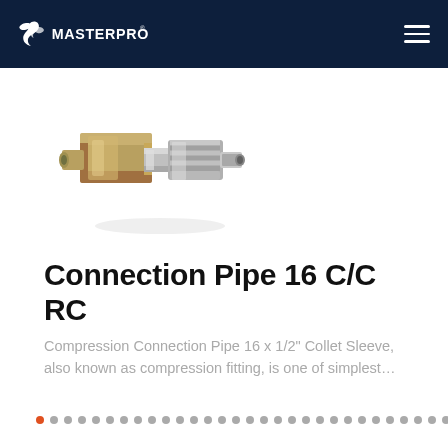MASTERPROF
[Figure (photo): Brass compression fitting connector pipe, metallic, showing collet sleeve and hex nut components]
Connection Pipe 16 C/C RC
Compression Connection Pipe 16 x 1/2" Collet Sleeve, also known as compression fitting, is one of simplest…